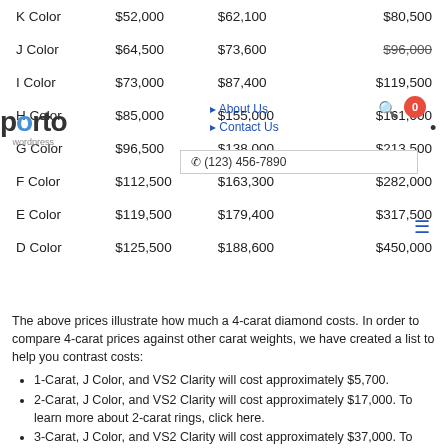| Color | SI2 Clarity | VS2 Clarity | IF Clarity |
| --- | --- | --- | --- |
| K Color | $52,000 | $62,100 | $80,500 |
| J Color | $64,500 | $73,600 | $96,000 |
| I Color | $73,000 | $87,400 | $119,500 |
| H Color | $85,000 | $155,000 | $161,000 |
| G Color | $96,500 | $138,000 | $213,500 |
| F Color | $112,500 | $163,300 | $282,000 |
| E Color | $119,500 | $179,400 | $317,500 |
| D Color | $125,500 | $188,600 | $450,000 |
The above prices illustrate how much a 4-carat diamond costs. In order to compare 4-carat prices against other carat weights, we have created a list to help you contrast costs:
1-Carat, J Color, and VS2 Clarity will cost approximately $5,700.
2-Carat, J Color, and VS2 Clarity will cost approximately $17,000. To learn more about 2-carat rings, click here.
3-Carat, J Color, and VS2 Clarity will cost approximately $37,000. To learn more about 3-carat rings, click here.
4-Carat, J Color, and VS2 Clarity will cost approximately $64,000.
5-Carat, J Color, and VS2 Clarity will cost approximately $107,500. To